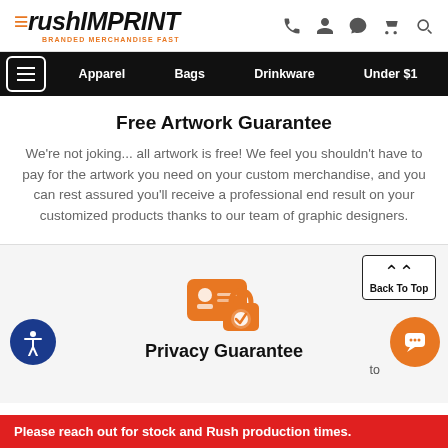rushIMPRINT — BRANDED MERCHANDISE FAST
Apparel | Bags | Drinkware | Under $1
Free Artwork Guarantee
We're not joking... all artwork is free! We feel you shouldn't have to pay for the artwork you need on your custom merchandise, and you can rest assured you'll receive a professional end result on your customized products thanks to our team of graphic designers.
[Figure (illustration): Orange icon showing an ID card with a lock/shield, representing Privacy Guarantee]
Privacy Guarantee
Please reach out for stock and Rush production times.